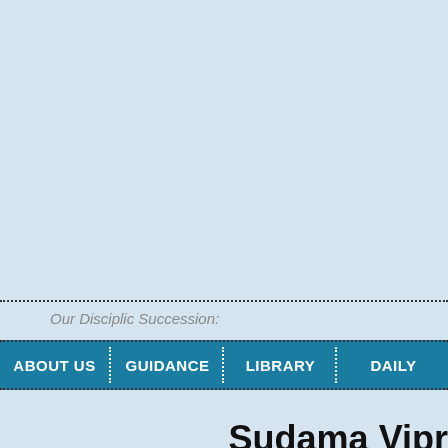Our Disciplic Succession:
ABOUT US | GUIDANCE | LIBRARY | DAILY
Sudama Vipr